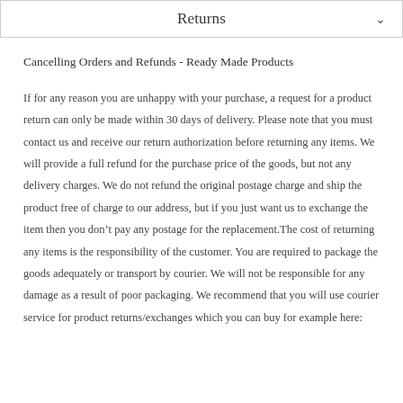Returns
Cancelling Orders and Refunds - Ready Made Products
If for any reason you are unhappy with your purchase, a request for a product return can only be made within 30 days of delivery. Please note that you must contact us and receive our return authorization before returning any items. We will provide a full refund for the purchase price of the goods, but not any delivery charges. We do not refund the original postage charge and ship the product free of charge to our address, but if you just want us to exchange the item then you don't pay any postage for the replacement.The cost of returning any items is the responsibility of the customer. You are required to package the goods adequately or transport by courier. We will not be responsible for any damage as a result of poor packaging. We recommend that you will use courier service for product returns/exchanges which you can buy for example here: